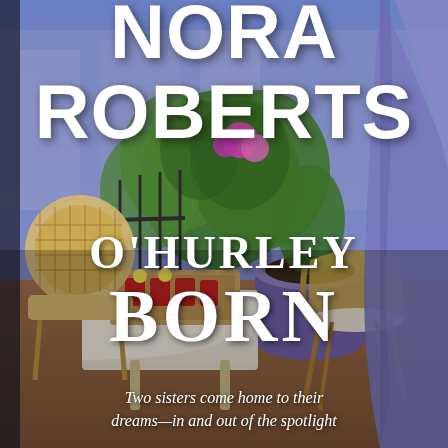[Figure (photo): Book cover photo: A terrace or rooftop garden scene with wicker chairs, a white tablecloth table holding a wooden tray with red drinks and lemon slices, lush green plants, purple flowers, a large purple pot, terracotta tiled floor, and a purple/blue fabric curtain or awning in the right foreground. The background shows an urban backdrop.]
NORA ROBERTS
O'HURLEY BORN
Two sisters come home to their dreams—in and out of the spotlight